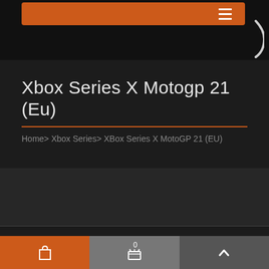[Figure (screenshot): Top navigation orange bar with hamburger menu icon and curved decorative element on dark background]
Xbox Series X Motogp 21 (Eu)
Home> Xbox Series> XBox Series X MotoGP 21 (EU)
[Figure (photo): Product image area - dark background placeholder]
| Label | Value |
| --- | --- |
| Brand: | Xbox Series |
| Product Code: | 2419686... |